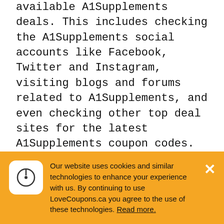available A1Supplements deals. This includes checking the A1Supplements social accounts like Facebook, Twitter and Instagram, visiting blogs and forums related to A1Supplements, and even checking other top deal sites for the latest A1Supplements coupon codes.
When shopping online for A1Supplements, it is a good idea to always visit us here at LoveCoupons.ca before you finish your order. The LoveCoupons.ca team save our visitors thousands of dollars every month, many of which never knew A1Supplements discount codes were available until visiting our site. Now that you know how easy it is to save at A1Supplements with our promo and coupon
Our website uses cookies and similar technologies to enhance your experience with us. By continuing to use LoveCoupons.ca you agree to the use of these technologies. Read more.